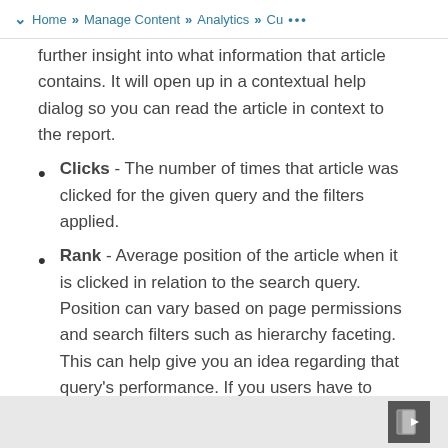Home » Manage Content » Analytics » Cu ...
further insight into what information that article contains. It will open up in a contextual help dialog so you can read the article in context to the report.
Clicks - The number of times that article was clicked for the given query and the filters applied.
Rank - Average position of the article when it is clicked in relation to the search query. Position can vary based on page permissions and search filters such as hierarchy faceting. This can help give you an idea regarding that query's performance. If you users have to